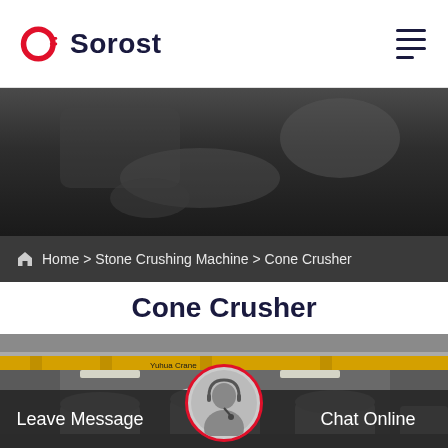[Figure (logo): Sorost company logo — red circle with a gear/key icon and dark navy text 'Sorost']
[Figure (photo): Dark blurred industrial/machinery background hero image]
Home > Stone Crushing Machine > Cone Crusher
Cone Crusher
[Figure (photo): Industrial factory interior with yellow crane (Yuhua Crane brand) and large white cone crusher machines on the floor]
Leave Message
Chat Online